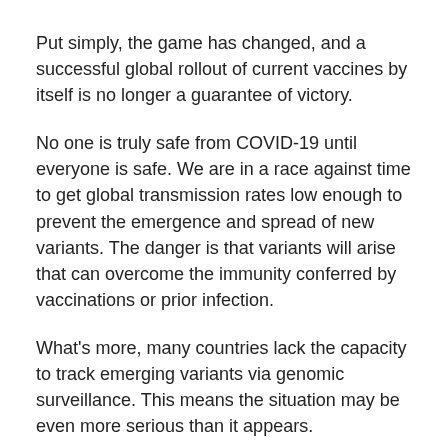Put simply, the game has changed, and a successful global rollout of current vaccines by itself is no longer a guarantee of victory.
No one is truly safe from COVID-19 until everyone is safe. We are in a race against time to get global transmission rates low enough to prevent the emergence and spread of new variants. The danger is that variants will arise that can overcome the immunity conferred by vaccinations or prior infection.
What's more, many countries lack the capacity to track emerging variants via genomic surveillance. This means the situation may be even more serious than it appears.
As members of the Lancet COVID-19 Commission Taskforce on Public Health, we call for urgent action in